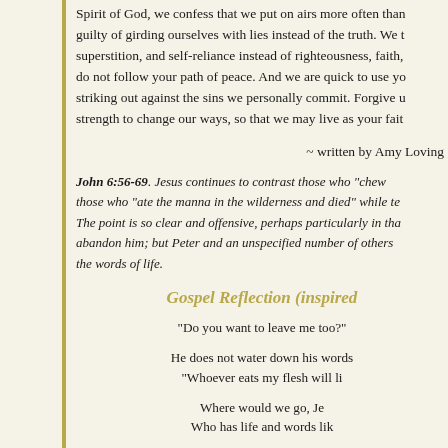Spirit of God, we confess that we put on airs more often than guilty of girding ourselves with lies instead of the truth. We tr superstition, and self-reliance instead of righteousness, faith, do not follow your path of peace. And we are quick to use yo striking out against the sins we personally commit. Forgive u strength to change our ways, so that we may live as your faith
~ written by Amy Loving
John 6:56-69. Jesus continues to contrast those who "chew o those who "ate the manna in the wilderness and died" while te The point is so clear and offensive, perhaps particularly in tha abandon him; but Peter and an unspecified number of others the words of life.
Gospel Reflection  (inspired
"Do you want to leave me too?"
He does not water down his words
"Whoever eats my flesh will li
Where would we go, Je
Who has life and words lik
If you can create a universe fr
if you can invent a whea
then we believe that you can
as bread.
Holy One of God